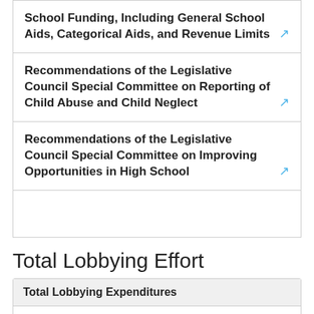School Funding, Including General School Aids, Categorical Aids, and Revenue Limits
Recommendations of the Legislative Council Special Committee on Reporting of Child Abuse and Child Neglect
Recommendations of the Legislative Council Special Committee on Improving Opportunities in High School
Total Lobbying Effort
| Total Lobbying Expenditures |  |
| --- | --- |
| 2013 | $150,212.17 |
| January - June | 2013   $116,649.95 |